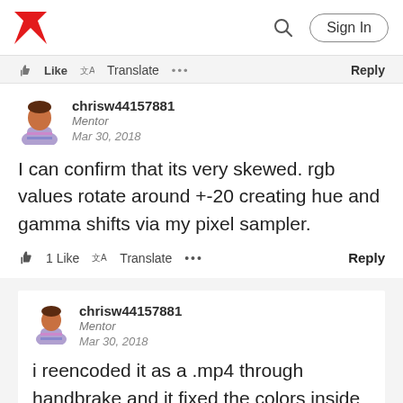Adobe | Sign In
Like  Translate  ...  Reply
chrisw44157881
Mentor
Mar 30, 2018
I can confirm that its very skewed. rgb values rotate around +-20 creating hue and gamma shifts via my pixel sampler.
1 Like  Translate  ...  Reply
chrisw44157881
Mentor
Mar 30, 2018
i reencoded it as a .mp4 through handbrake and it fixed the colors inside